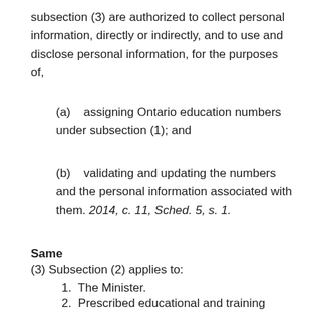subsection (3) are authorized to collect personal information, directly or indirectly, and to use and disclose personal information, for the purposes of,
(a)  assigning Ontario education numbers under subsection (1); and
(b)  validating and updating the numbers and the personal information associated with them. 2014, c. 11, Sched. 5, s. 1.
Same
(3) Subsection (2) applies to:
1.  The Minister.
2.  Prescribed educational and training institutions.